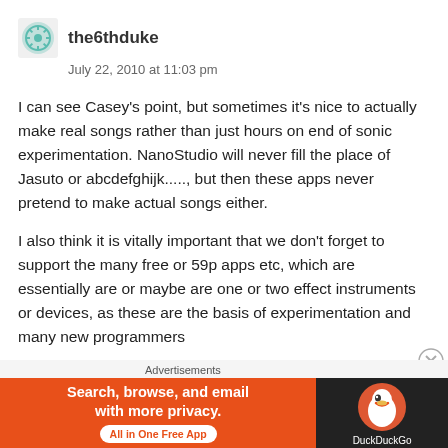the6thduke
July 22, 2010 at 11:03 pm
I can see Casey's point, but sometimes it's nice to actually make real songs rather than just hours on end of sonic experimentation. NanoStudio will never fill the place of Jasuto or abcdefghijk....., but then these apps never pretend to make actual songs either.
I also think it is vitally important that we don't forget to support the many free or 59p apps etc, which are essentially are or maybe are one or two effect instruments or devices, as these are the basis of experimentation and many new programmers
Advertisements
[Figure (illustration): DuckDuckGo advertisement banner with orange left section reading 'Search, browse, and email with more privacy. All in One Free App' and dark right section with DuckDuckGo duck logo and brand name]